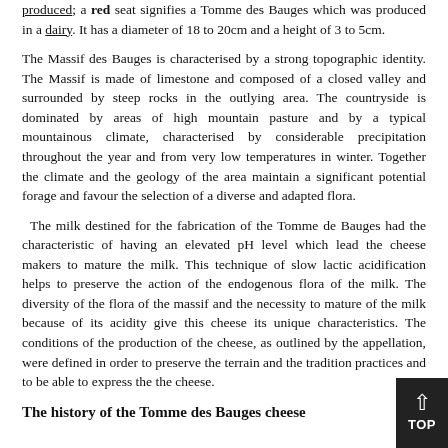produced; a red seat signifies a Tomme des Bauges which was produced in a dairy. It has a diameter of 18 to 20cm and a height of 3 to 5cm.
The Massif des Bauges is characterised by a strong topographic identity. The Massif is made of limestone and composed of a closed valley and surrounded by steep rocks in the outlying area. The countryside is dominated by areas of high mountain pasture and by a typical mountainous climate, characterised by considerable precipitation throughout the year and from very low temperatures in winter. Together the climate and the geology of the area maintain a significant potential forage and favour the selection of a diverse and adapted flora.
The milk destined for the fabrication of the Tomme de Bauges had the characteristic of having an elevated pH level which lead the cheese makers to mature the milk. This technique of slow lactic acidification helps to preserve the action of the endogenous flora of the milk. The diversity of the flora of the massif and the necessity to mature of the milk because of its acidity give this cheese its unique characteristics. The conditions of the production of the cheese, as outlined by the appellation, were defined in order to preserve the terrain and the tradition practices and to be able to express these in the cheese.
The history of the Tomme des Bauges cheese